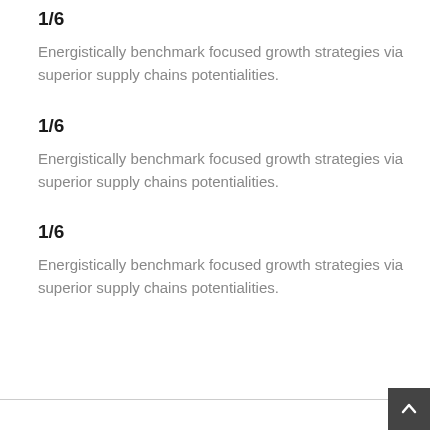1/6
Energistically benchmark focused growth strategies via superior supply chains potentialities.
1/6
Energistically benchmark focused growth strategies via superior supply chains potentialities.
1/6
Energistically benchmark focused growth strategies via superior supply chains potentialities.